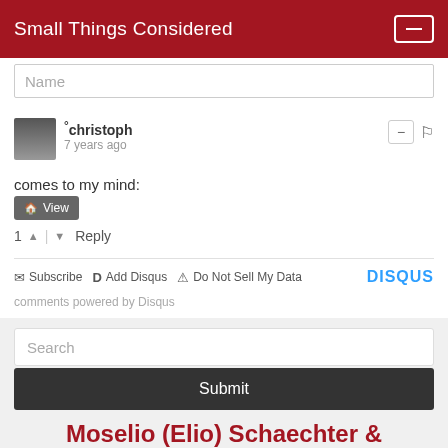Small Things Considered
Name
°christoph
7 years ago
comes to my mind:
View
1   |   Reply
Subscribe   Add Disqus   Do Not Sell My Data   DISQUS
comments powered by Disqus
Search
Submit
Moselio (Elio) Schaechter &